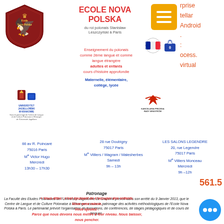[Figure (logo): Ecole Nova Polska shield logo - dark red with white eagle]
ECOLE NOVA POLSKA
du roi polonais Stanisław Leszczyński à Paris
[Figure (logo): Orange hamburger menu button icon]
[Figure (logo): French flag and shopping bag icons]
Enseignement du polonais comme 2ème langue et comme langue étrangère adultes et enfants cours d'histoire approfondie
Maternelle, élémentaire, collège, lycée
[Figure (logo): Université Jagellonne de Cracovie logo with text about patronage]
[Figure (logo): Kancelaria Prezesa Rady Ministrow logo]
66 av R. Poincaré
75016 Paris
Mᵉ Victor Hugo
Mercredi
13h30 – 17h30
28 rue Doubigny
75017 Paris
Mᵉ Villiers / Wagram / Malesherbes
Samedi
9h – 13h
LES SALONS LEGENDRE
20, rue Legendre
75017 Paris
Mᵉ Villiers Monceau
Mercredi
9h –12h
Patronage
La Faculté des Etudes Polonaises de l'Université Jagellonne de Cracovie prévoit dans son arrêté du 9 Janvier 2013, que le Centre de Langue et de Culture Polonaise à l'Etranger assure le patronage des activités méthodologiques de l'Ecole Nova Polska à Paris. Le partenariat prévoit l'organisation de formations, de conférences, de stages pédagogiques et de cours de langues.
« Vous dites : c'est épuisant de s'occuper des enfants. Vous avez raison. Vous ajoutez : Parce que nous devons nous mettre à leur niveau. Nous baisser, nous pencher.